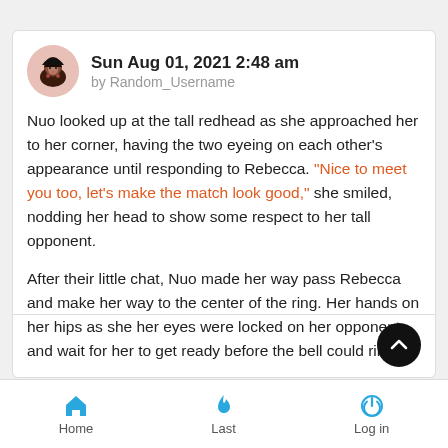Sun Aug 01, 2021 2:48 am by Random_Username
Nuo looked up at the tall redhead as she approached her to her corner, having the two eyeing on each other's appearance until responding to Rebecca. "Nice to meet you too, let's make the match look good," she smiled, nodding her head to show some respect to her tall opponent.
After their little chat, Nuo made her way pass Rebecca and make her way to the center of the ring. Her hands on her hips as she her eyes were locked on her opponent and wait for her to get ready before the bell could ring.
Home Last Log in